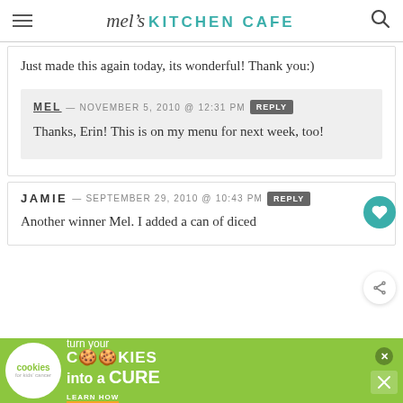mel's KITCHEN CAFE
Just made this again today, its wonderful! Thank you:)
MEL — NOVEMBER 5, 2010 @ 12:31 PM  REPLY
Thanks, Erin! This is on my menu for next week, too!
JAMIE — SEPTEMBER 29, 2010 @ 10:43 PM  REPLY
Another winner Mel. I added a can of diced
[Figure (screenshot): Advertisement banner: cookies for kids cancer - turn your COOKIES into a CURE LEARN HOW]